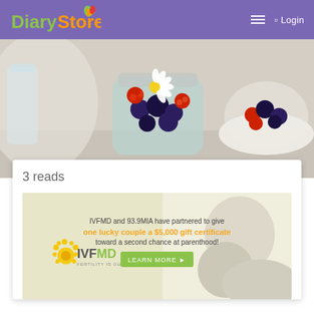Diary Store — Login
[Figure (photo): Hero food photo showing a glass jar filled with blueberries, raspberries, and a white daisy flower, with a bowl of mixed berries in the background on a light surface]
3 reads
[Figure (photo): IVFMD and 93.9MIA advertisement banner: 'IVFMD and 93.9MIA have partnered to give one lucky couple a $5,000 gift certificate toward a second chance at parenthood!' with a LEARN MORE button and the IVFMD logo, showing a mother holding a baby]